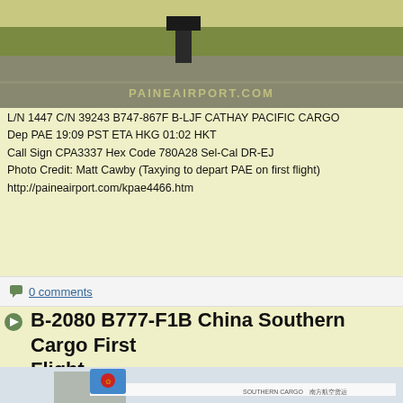[Figure (photo): Partial view of an aircraft on a runway/tarmac at Paine Airport, with PAINEAIRPORT.COM watermark visible]
L/N 1447 C/N 39243 B747-867F B-LJF CATHAY PACIFIC CARGO
Dep PAE 19:09 PST ETA HKG 01:02 HKT
Call Sign CPA3337 Hex Code 780A28 Sel-Cal DR-EJ
Photo Credit: Matt Cawby (Taxying to depart PAE on first flight)
http://paineairport.com/kpae4466.htm
0 comments
B-2080 B777-F1B China Southern Cargo First Flight
[Figure (photo): China Southern Cargo B777-F1B aircraft (B-2080) on the ground, showing the tail with China Southern logo and fuselage with SOUTHERN CARGO livery]